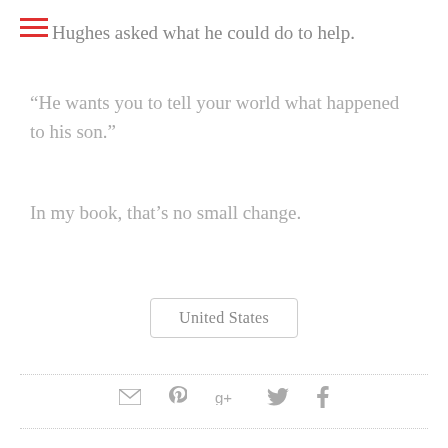Hughes asked what he could do to help.
“He wants you to tell your world what happened to his son.”
In my book, that’s no small change.
United States
[social share icons: email, pinterest, google+, twitter, facebook]